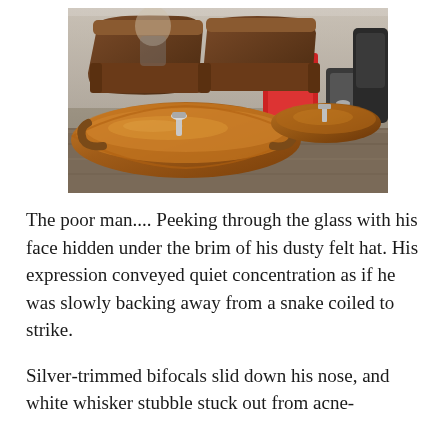[Figure (photo): Interior of a nail salon showing a row of pedicure chairs with amber-colored foot basins, brown leather recliner chairs, red accent furniture in the background, and rolling stools on the right side. The floor is wood-toned laminate.]
The poor man.... Peeking through the glass with his face hidden under the brim of his dusty felt hat. His expression conveyed quiet concentration as if he was slowly backing away from a snake coiled to strike.
Silver-trimmed bifocals slid down his nose, and white whisker stubble stuck out from acne-scarred cheeks. Although the room barely floored...